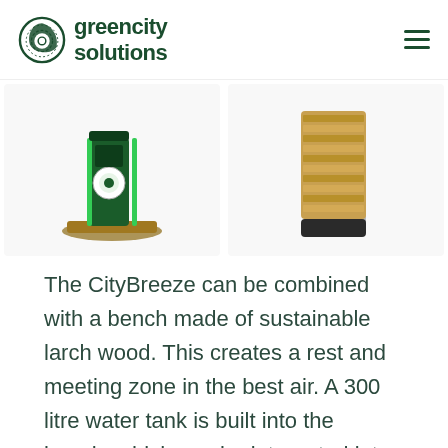greencity solutions
[Figure (photo): Two product images side by side: left shows a CityBreeze unit with green casing and a bench base, right shows a wall-mounted CityBreeze unit with wooden slats]
The CityBreeze can be combined with a bench made of sustainable larch wood. This creates a rest and meeting zone in the best air. A 300 litre water tank is built into the bench, which can be integrated into